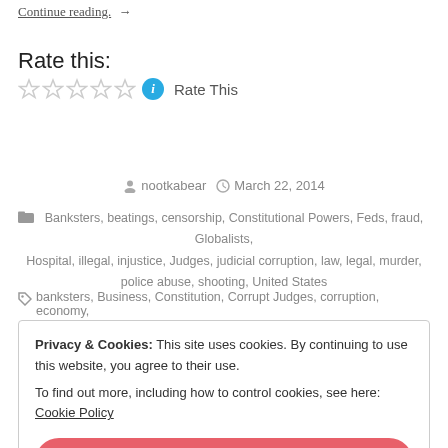Continue reading. →
Rate this:
★ ★ ★ ★ ★ ⓘ Rate This
nootkabear   March 22, 2014
Banksters, beatings, censorship, Constitutional Powers, Feds, fraud, Globalists, Hospital, illegal, injustice, Judges, judicial corruption, law, legal, murder, police abuse, shooting, United States
banksters, Business, Constitution, Corrupt Judges, corruption, economy,
Privacy & Cookies: This site uses cookies. By continuing to use this website, you agree to their use.
To find out more, including how to control cookies, see here: Cookie Policy
[Close and accept]